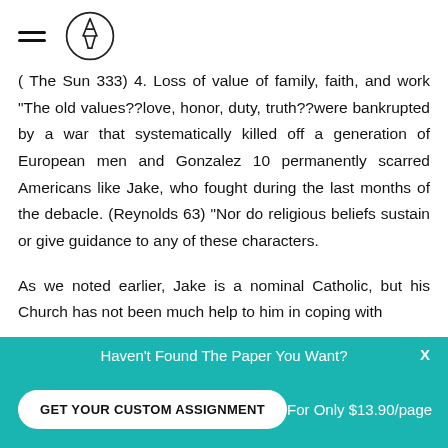[hamburger menu icon] [pencil logo]
( The Sun 333) 4. Loss of value of family, faith, and work "The old values??love, honor, duty, truth??were bankrupted by a war that systematically killed off a generation of European men and Gonzalez 10 permanently scarred Americans like Jake, who fought during the last months of the debacle. (Reynolds 63) “Nor do religious beliefs sustain or give guidance to any of these characters.
As we noted earlier, Jake is a nominal Catholic, but his Church has not been much help to him in coping with
Haven't Found The Paper You Want?
GET YOUR CUSTOM ASSIGNMENT
For Only $13.90/page